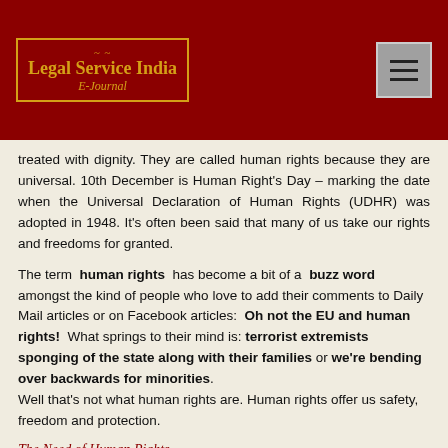[Figure (logo): Legal Service India E-Journal logo with gold border and text on dark red header background]
treated with dignity. They are called human rights because they are universal. 10th December is Human Right's Day – marking the date when the Universal Declaration of Human Rights (UDHR) was adopted in 1948. It's often been said that many of us take our rights and freedoms for granted.
The term human rights has become a bit of a buzz word amongst the kind of people who love to add their comments to Daily Mail articles or on Facebook articles: Oh not the EU and human rights! What springs to their mind is: terrorist extremists sponging of the state along with their families or we're bending over backwards for minorities. Well that's not what human rights are. Human rights offer us safety, freedom and protection.
The Need of Human Rights
Violations against freedom of speech, expression, assembly and association